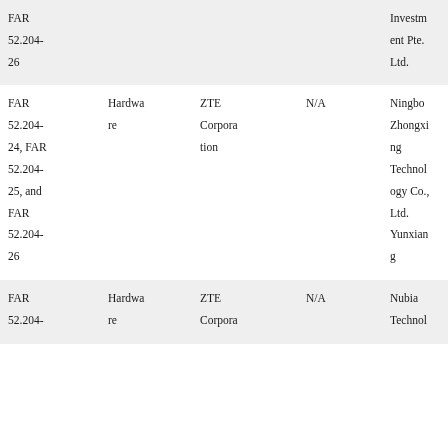| FAR 52.204-26 |  |  |  | Investment Pte. Ltd. |
| FAR 52.204-24, FAR 52.204-25, and FAR 52.204-26 | Hardware | ZTE Corporation | N/A | Ningbo Zhongxing Technology Co., Ltd. Yunxiang |
| FAR 52.204- | Hardware | ZTE Corpora | N/A | Nubia Technol |